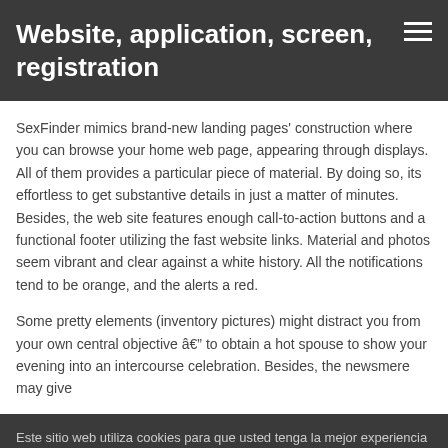Website, application, screen, registration
SexFinder mimics brand-new landing pages' construction where you can browse your home web page, appearing through displays. All of them provides a particular piece of material. By doing so, its effortless to get substantive details in just a matter of minutes. Besides, the web site features enough call-to-action buttons and a functional footer utilizing the fast website links. Material and photos seem vibrant and clear against a white history. All the notifications tend to be orange, and the alerts a red.
Some pretty elements (inventory pictures) might distract you from your own central objective â to obtain a hot spouse to show your evening into an intercourse celebration. Besides, the newsmere may give
Este sitio web utiliza cookies para que usted tenga la mejor experiencia de usuario. Si continúa navegando está dando su consentimiento para la aceptación de las mencionadas cookies y la aceptación de nuestra política de cookies. Clic para mayor información sobre las Cookies.